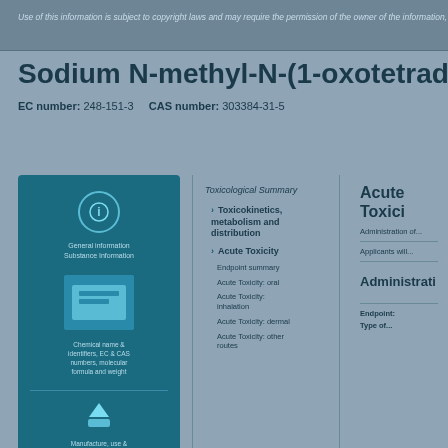Use of this information is subject to copyright laws and may require the permission of the owner of the information, as described in the ECHA Legal Notice.
Sodium N-methyl-N-(1-oxotetradecyl)am...
EC number: 248-151-3   CAS number: 303304-31-5
[Figure (infographic): Blue information panel with icons for general information and navigation links]
Toxicological Summary
Toxicokinetics, metabolism and distribution
Acute Toxicity
Endpoint summary
Acute Toxicity: oral
Acute Toxicity: inhalation
Acute Toxicity: dermal
Acute Toxicity: other routes
Acute Toxici...
Administration of...
Applicants will...
Administrati...
Endpoint:
Type of...